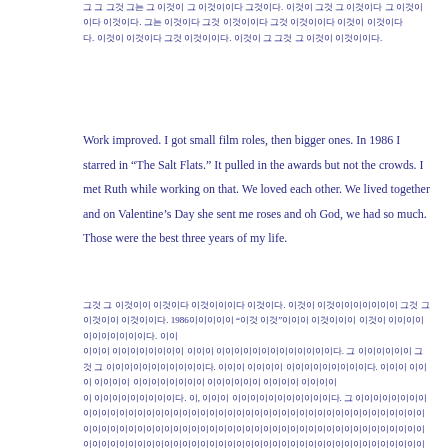[Korean text - top paragraph, partially visible]
Work improved. I got small film roles, then bigger ones. In 1986 I starred in “The Salt Flats.” It pulled in the awards but not the crowds. I met Ruth while working on that. We loved each other. We lived together and on Valentine’s Day she sent me roses and oh God, we had so much. Those were the best three years of my life.
[Korean translation of above paragraph]
In 1988 there was the war, and after that there were no more roses. Not for anybody.
[Korean text - bottom, partially visible]